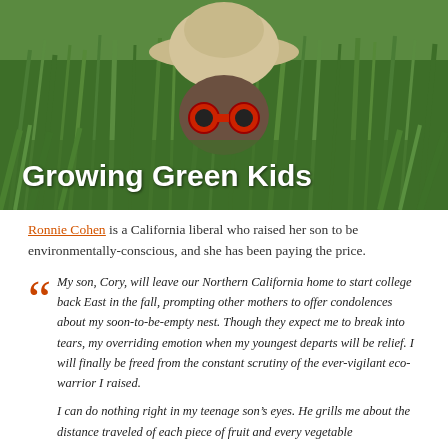[Figure (photo): Child peeking through tall green grass wearing a pith helmet and holding red binoculars, with white overlaid title text 'Growing Green Kids']
Ronnie Cohen is a California liberal who raised her son to be environmentally-conscious, and she has been paying the price.
My son, Cory, will leave our Northern California home to start college back East in the fall, prompting other mothers to offer condolences about my soon-to-be-empty nest. Though they expect me to break into tears, my overriding emotion when my youngest departs will be relief. I will finally be freed from the constant scrutiny of the ever-vigilant eco-warrior I raised.

I can do nothing right in my teenage sonâ€™s eyes. He grills me about the distance traveled of each piece of fruit and every vegetable